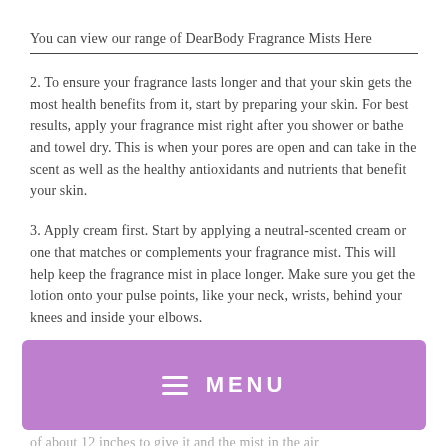You can view our range of DearBody Fragrance Mists Here
2. To ensure your fragrance lasts longer and that your skin gets the most health benefits from it, start by preparing your skin. For best results, apply your fragrance mist right after you shower or bathe and towel dry. This is when your pores are open and can take in the scent as well as the healthy antioxidants and nutrients that benefit your skin.
3. Apply cream first. Start by applying a neutral-scented cream or one that matches or complements your fragrance mist. This will help keep the fragrance mist in place longer. Make sure you get the lotion onto your pulse points, like your neck, wrists, behind your knees and inside your elbows.
[Figure (screenshot): Purple/lavender menu bar with hamburger icon lines and MENU text in white capital letters]
4. Spray the fragrance mist toward your pulse points at a distance of about 12 inches to give it and the mist in the air...